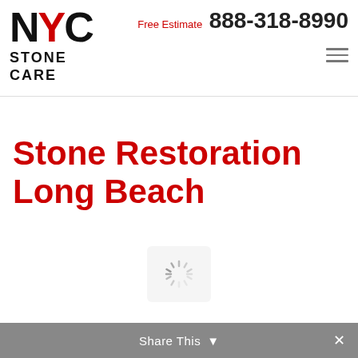[Figure (logo): NYC Stone Care logo with red Y letter and black N, C; STONE CARE text below]
Free Estimate 888-318-8990
Stone Restoration Long Beach
[Figure (other): Loading spinner icon in a rounded rectangle]
Share This ✓ ×